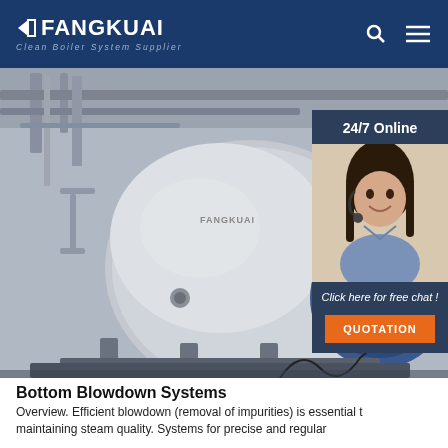FANGKUAI Clean Boiler System Supplier
[Figure (photo): Large industrial boiler equipment in a factory setting, metallic cylindrical boiler with piping and supports, industrial interior background]
24/7 Online
[Figure (photo): Customer service representative woman wearing a headset, smiling]
Click here for free chat !
QUOTATION
Bottom Blowdown Systems
Overview. Efficient blowdown (removal of impurities) is essential t maintaining steam quality. Systems for precise and regular